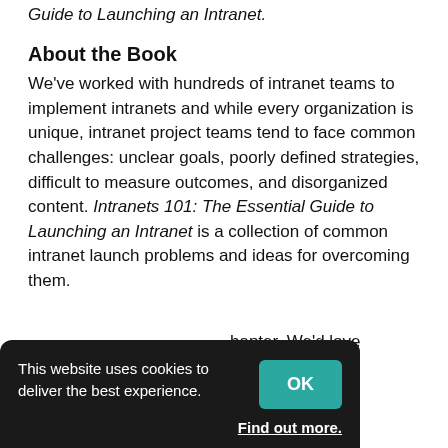writing this book, Intranets 101: The Essential Guide to Launching an Intranet.
About the Book
We've worked with hundreds of intranet teams to implement intranets and while every organization is unique, intranet project teams tend to face common challenges: unclear goals, poorly defined strategies, difficult to measure outcomes, and disorganized content. Intranets 101: The Essential Guide to Launching an Intranet is a collection of common intranet launch problems and ideas for overcoming them.
hapter. We'd love comments and the chapters t or drop us a
line at engage@thoughtfarmer.com
This website uses cookies to deliver the best experience.
Find out more.